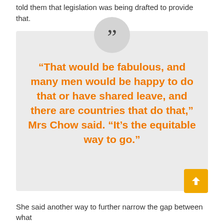...told them that legislation was being drafted to provide that.
“That would be fabulous, and many men would be happy to do that or have shared leave, and there are countries that do that,” Mrs Chow said. “It’s the equitable way to go.”
She said another way to further narrow the gap between what...